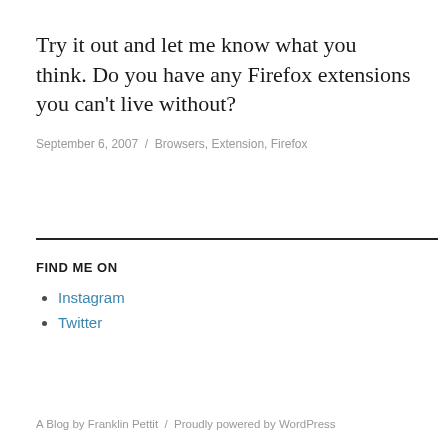Try it out and let me know what you think. Do you have any Firefox extensions you can't live without?
September 6, 2007 / Browsers, Extension, Firefox
FIND ME ON
Instagram
Twitter
A Blog by Franklin Pettit / Proudly powered by WordPress